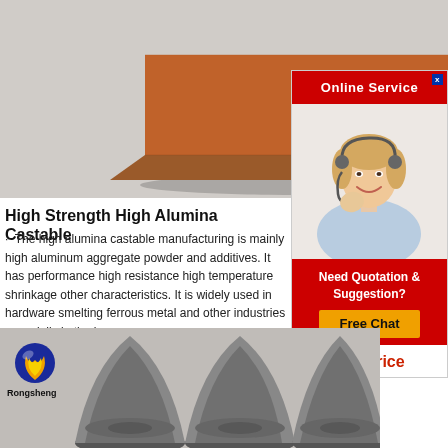[Figure (photo): A brown/terracotta colored rectangular refractory brick shown on a light gray background]
[Figure (screenshot): Online Service widget with red banner saying 'Online Service', photo of a smiling blonde woman with headset, red box with 'Need Quotation & Suggestion?', orange 'Free Chat' button, and red 'Get Price' text]
High Strength High Alumina Castable
The high alumina castable manufacturing is mainly high aluminum aggregate powder and additives. It has performance high resistance high temperature shrinkage other characteristics. It is widely used in hardware smelting ferrous metal and other industries especially in the iron
[Figure (photo): Three dark gray metallic cone/bullet-shaped refractory products with the Rongsheng logo (flame and sphere) in the top-left corner]